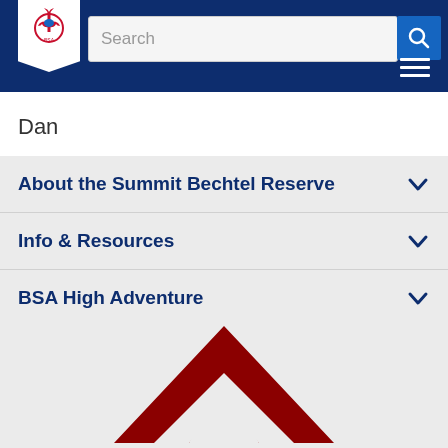[Figure (logo): BSA Boy Scouts of America fleur-de-lis logo on white pennant background in dark blue header]
[Figure (screenshot): Search bar with placeholder text 'Search' and blue search icon button]
[Figure (infographic): Hamburger menu icon (three horizontal white lines) on dark blue background]
Dan
About the Summit Bechtel Reserve
Info & Resources
BSA High Adventure
[Figure (logo): Summit Bechtel Reserve dark red mountain/chevron logo mark]